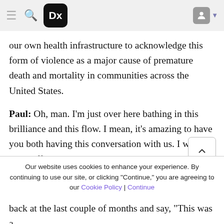Dx (logo navigation bar)
our own health infrastructure to acknowledge this form of violence as a major cause of premature death and mortality in communities across the United States.
Paul: Oh, man. I'm just over here bathing in this brilliance and this flow. I mean, it's amazing to have you both having this conversation with us. I want to jump off exactly what you just said, thinking about public responses to these issues in the past and then also kind of what things have looked like in the last couple of months. And you both wrote with your colleague Eduardo Medina this powerful meditation on George
Our website uses cookies to enhance your experience. By continuing to use our site, or clicking "Continue," you are agreeing to our Cookie Policy | Continue
back at the last couple of months and say, "This was a